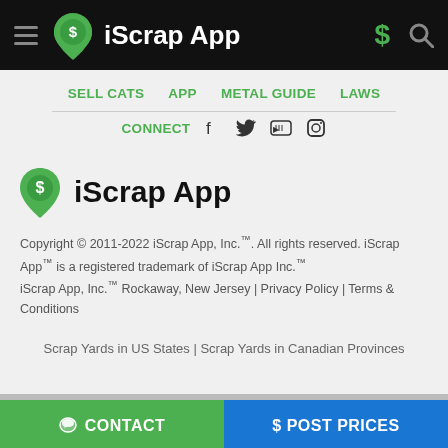iScrap App
SELL CATS
APP
METAL GUIDE
LAWS
CONNECT
iScrap App
Copyright © 2011-2022 iScrap App, Inc.™. All rights reserved. iScrap App™ is a registered trademark of iScrap App Inc.™
iScrap App, Inc.™ Rockaway, New Jersey | Privacy Policy | Terms & Conditions
Scrap Yards in US States | Scrap Yards in Canadian Provinces
CONTACT | $ POST PRICES